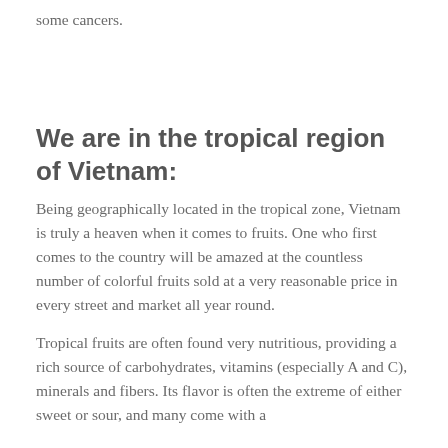some cancers.
We are in the tropical region of Vietnam:
Being geographically located in the tropical zone, Vietnam is truly a heaven when it comes to fruits. One who first comes to the country will be amazed at the countless number of colorful fruits sold at a very reasonable price in every street and market all year round.
Tropical fruits are often found very nutritious, providing a rich source of carbohydrates, vitamins (especially A and C), minerals and fibers. Its flavor is often the extreme of either sweet or sour, and many come with a